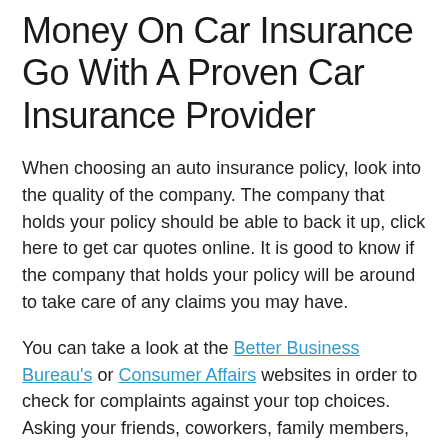Money On Car Insurance Go With A Proven Car Insurance Provider
When choosing an auto insurance policy, look into the quality of the company. The company that holds your policy should be able to back it up, click here to get car quotes online. It is good to know if the company that holds your policy will be around to take care of any claims you may have.
You can take a look at the Better Business Bureau's or Consumer Affairs websites in order to check for complaints against your top choices. Asking your friends, coworkers, family members, and even neighbors about their experience with